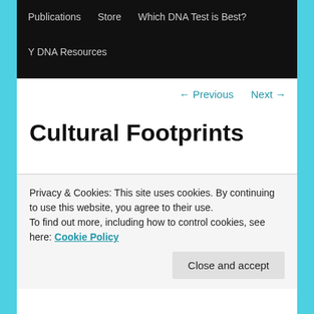Publications  Store  Which DNA Test is Best?  Y DNA Resources
← Previous  Next →
Cultural Footprints
Posted on January 7, 2015
I was recently corresponding with a descendant of Valentine Collins, one of the Melungeon families of mixed
Privacy & Cookies: This site uses cookies. By continuing to use this website, you agree to their use.
To find out more, including how to control cookies, see here: Cookie Policy
Close and accept